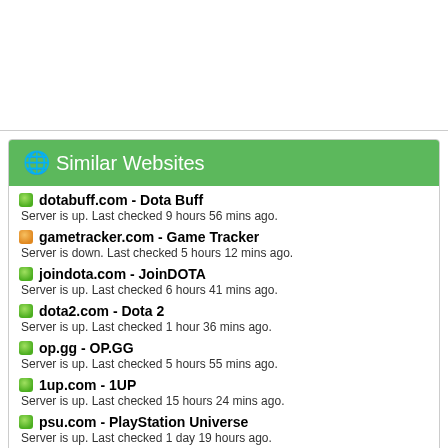🌐 Similar Websites
dotabuff.com - Dota Buff
Server is up. Last checked 9 hours 56 mins ago.
gametracker.com - Game Tracker
Server is down. Last checked 5 hours 12 mins ago.
joindota.com - JoinDOTA
Server is up. Last checked 6 hours 41 mins ago.
dota2.com - Dota 2
Server is up. Last checked 1 hour 36 mins ago.
op.gg - OP.GG
Server is up. Last checked 5 hours 55 mins ago.
1up.com - 1UP
Server is up. Last checked 15 hours 24 mins ago.
psu.com - PlayStation Universe
Server is up. Last checked 1 day 19 hours ago.
curse.com - Curse
Server is down. Last checked 12 hours 50 mins ago.
d2jsp.org - d2jsp Forums
Server is up. Last checked 41 mins ago.